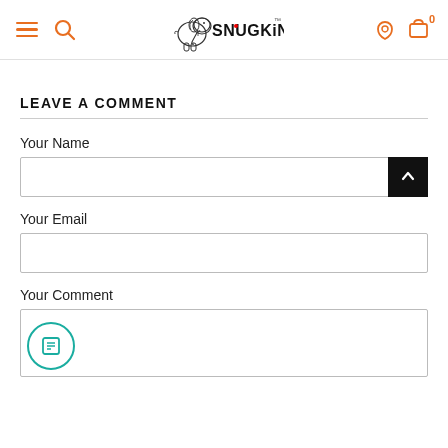Snugkins - navigation header with menu, search, logo, user, cart
LEAVE A COMMENT
Your Name
Your Email
Your Comment